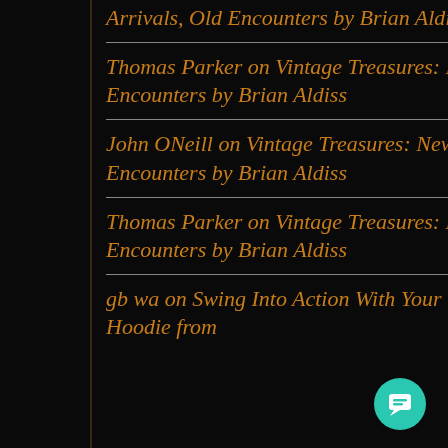Arrivals, Old Encounters by Brian Aldiss
Thomas Parker on Vintage Treasures: New Arrivals, Old Encounters by Brian Aldiss
John ONeill on Vintage Treasures: New Arrivals, Old Encounters by Brian Aldiss
Thomas Parker on Vintage Treasures: New Arrivals, Old Encounters by Brian Aldiss
gb wa on Swing Into Action With Your Very Own Spider-Man Hoodie from